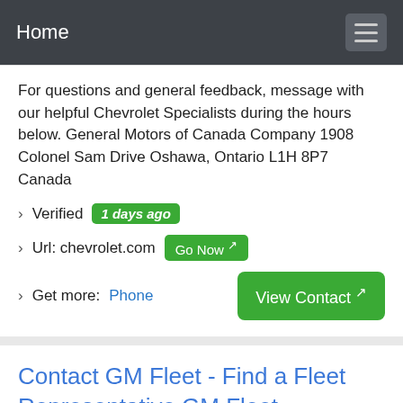Home
For questions and general feedback, message with our helpful Chevrolet Specialists during the hours below. General Motors of Canada Company 1908 Colonel Sam Drive Oshawa, Ontario L1H 8P7 Canada
› Verified  1 days ago
› Url: chevrolet.com  Go Now
› Get more:  Phone   View Contact
Contact GM Fleet - Find a Fleet Representative GM Fleet
Details: Contact GM Fleet to find a